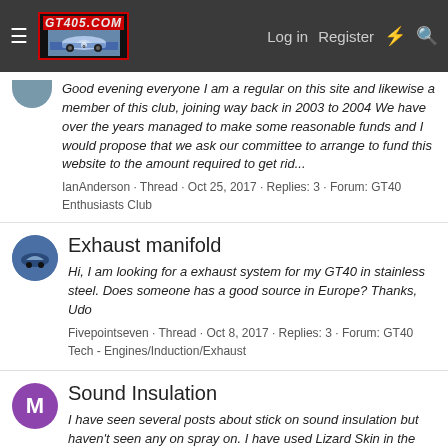GT405.COM — Log in | Register
Good evening everyone I am a regular on this site and likewise a member of this club, joining way back in 2003 to 2004 We have over the years managed to make some reasonable funds and I would propose that we ask our committee to arrange to fund this website to the amount required to get rid...
IanAnderson · Thread · Oct 25, 2017 · Replies: 3 · Forum: GT40 Enthusiasts Club
Exhaust manifold
Hi, I am looking for a exhaust system for my GT40 in stainless steel. Does someone has a good source in Europe? Thanks, Udo
Fivepointseven · Thread · Oct 8, 2017 · Replies: 3 · Forum: GT40 Tech - Engines/Induction/Exhaust
Sound Insulation
I have seen several posts about stick on sound insulation but haven't seen any on spray on. I have used Lizard Skin in the past for both sound and heat insulation with good results. Has anyone used this on an SL-C and were there any issues?
mmopar0521 · Thread · Aug 23, 2017 · Replies: 2 · Forum: RCR